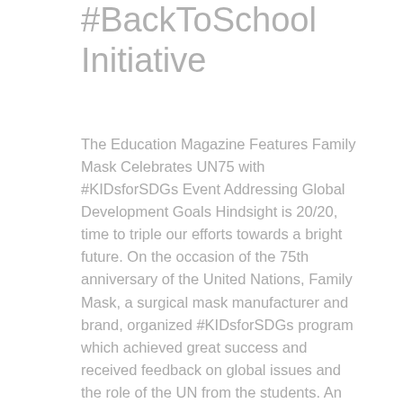#BackToSchool Initiative
The Education Magazine Features Family Mask Celebrates UN75 with #KIDsforSDGs Event Addressing Global Development Goals Hindsight is 20/20, time to triple our efforts towards a bright future. On the occasion of the 75th anniversary of the United Nations, Family Mask, a surgical mask manufacturer and brand, organized #KIDsforSDGs program which achieved great success and received feedback on global issues and the role of the UN from the students. An effort to build more diverse